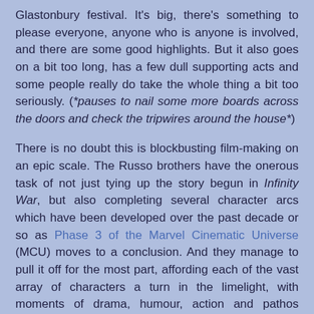Glastonbury festival. It's big, there's something to please everyone, anyone who is anyone is involved, and there are some good highlights. But it also goes on a bit too long, has a few dull supporting acts and some people really do take the whole thing a bit too seriously. (*pauses to nail some more boards across the doors and check the tripwires around the house*)
There is no doubt this is blockbusting film-making on an epic scale. The Russo brothers have the onerous task of not just tying up the story begun in Infinity War, but also completing several character arcs which have been developed over the past decade or so as Phase 3 of the Marvel Cinematic Universe (MCU) moves to a conclusion. And they manage to pull it off for the most part, affording each of the vast array of characters a turn in the limelight, with moments of drama, humour, action and pathos patched together in crowd-pleasing fashion. The loyal, starry-eyed acolytes in the MCU temple will find much here to reward their faith. However, if one were inclined to risk heresy in the temple, one might point out that the behemoth they worship is not all that solid and is certainly less interesting now that focus has shifted